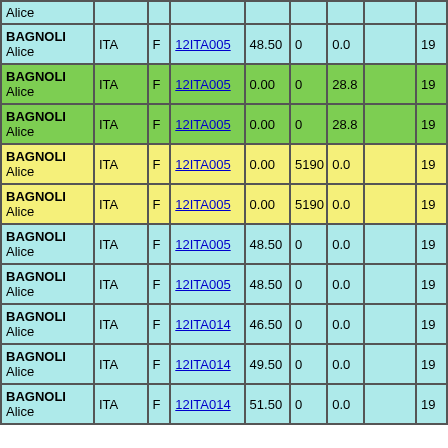| Name | Nat | Sex | Event | Val1 | Val2 | Val3 |  | Num |
| --- | --- | --- | --- | --- | --- | --- | --- | --- |
| Alice |  |  |  |  |  |  |  |  |
| BAGNOLI Alice | ITA | F | 12ITA005 | 48.50 | 0 | 0.0 |  | 19 |
| BAGNOLI Alice | ITA | F | 12ITA005 | 0.00 | 0 | 28.8 |  | 19 |
| BAGNOLI Alice | ITA | F | 12ITA005 | 0.00 | 0 | 28.8 |  | 19 |
| BAGNOLI Alice | ITA | F | 12ITA005 | 0.00 | 5190 | 0.0 |  | 19 |
| BAGNOLI Alice | ITA | F | 12ITA005 | 0.00 | 5190 | 0.0 |  | 19 |
| BAGNOLI Alice | ITA | F | 12ITA005 | 48.50 | 0 | 0.0 |  | 19 |
| BAGNOLI Alice | ITA | F | 12ITA005 | 48.50 | 0 | 0.0 |  | 19 |
| BAGNOLI Alice | ITA | F | 12ITA014 | 46.50 | 0 | 0.0 |  | 19 |
| BAGNOLI Alice | ITA | F | 12ITA014 | 49.50 | 0 | 0.0 |  | 19 |
| BAGNOLI Alice | ITA | F | 12ITA014 | 51.50 | 0 | 0.0 |  | 19 |